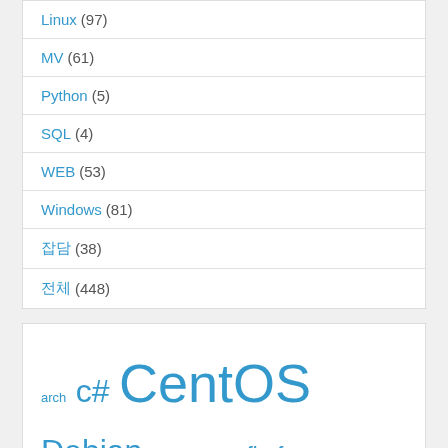Linux (97)
MV (61)
Python (5)
SQL (4)
WEB (53)
Windows (81)
잡담 (38)
전체 (448)
[Figure (infographic): Tag cloud with various technology-related tags in different sizes including arch, c#, CentOS, Debian, exchange2003, firefox, foxmail, ghost, Google, grub, honda, hotmail, hp, iptables, jd, linux, linuxmint, nginx, nokia, OneDrive, openssh, opens, php, PicGo, proxy, pure-ftpd, python, RHEL, SQL, Ubuntu, windows, wlm in shades of blue]